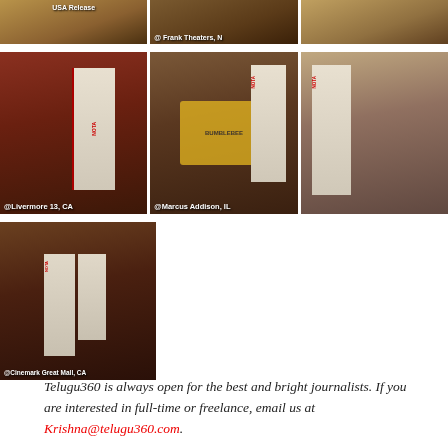[Figure (photo): Three theater lobby photos in a row showing NOTA movie banners. Top row showing USA Release and @ Frank Theaters, N labels.]
[Figure (photo): Three theater lobby photos in a row showing NOTA movie banners. Labels: @Livermore 13, CA; @Marcus Addison, IL; and unlabeled right image.]
[Figure (photo): Theater lobby photo showing NOTA movie banner with label @Cinemark Great Mall, CA.]
Telugu360 is always open for the best and bright journalists. If you are interested in full-time or freelance, email us at Krishna@telugu360.com.